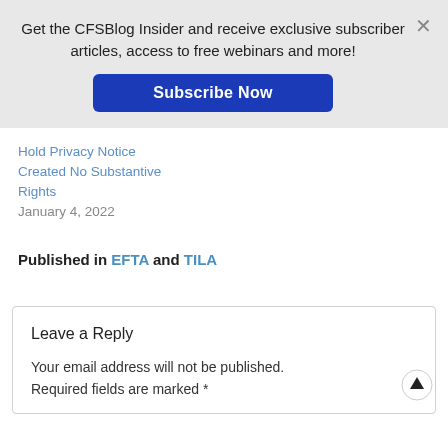Get the CFSBlog Insider and receive exclusive subscriber articles, access to free webinars and more!
Subscribe Now
Hold Privacy Notice
Created No Substantive Rights
January 4, 2022
Published in EFTA and TILA
Leave a Reply
Your email address will not be published. Required fields are marked *